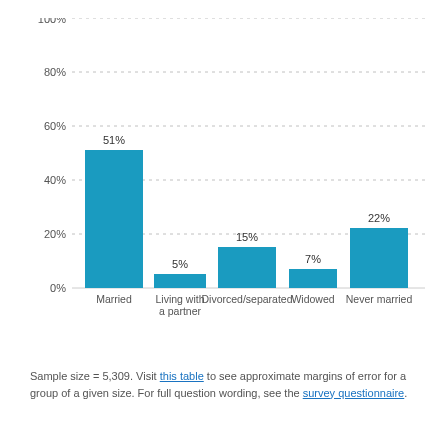[Figure (bar-chart): ]
Sample size = 5,309. Visit this table to see approximate margins of error for a group of a given size. For full question wording, see the survey questionnaire.